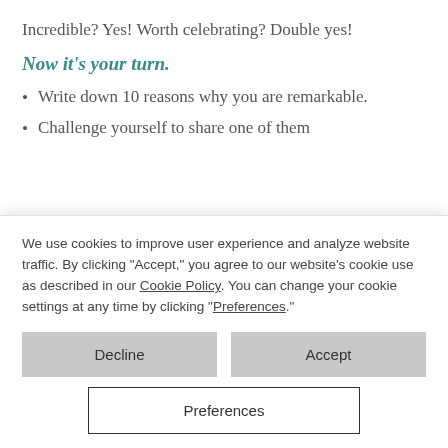Incredible?  Yes! Worth celebrating? Double yes!
Now it’s your turn.
Write down 10 reasons why you are remarkable.
Challenge yourself to share one of them
We use cookies to improve user experience and analyze website traffic. By clicking “Accept,” you agree to our website’s cookie use as described in our Cookie Policy. You can change your cookie settings at any time by clicking “Preferences.”
Decline
Accept
Preferences